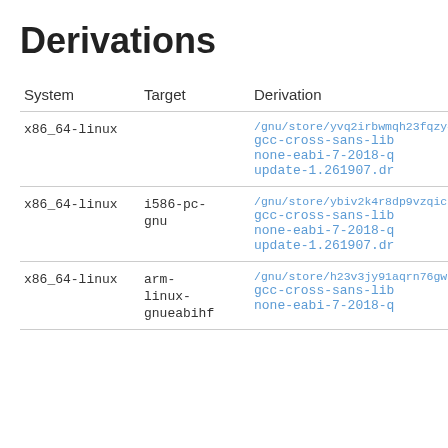Derivations
| System | Target | Derivation |
| --- | --- | --- |
| x86_64-linux |  | /gnu/store/yvq2irbwmqh23fqzy4p
gcc-cross-sans-lib
none-eabi-7-2018-q
update-1.261907.dr |
| x86_64-linux | i586-pc-gnu | /gnu/store/ybiv2k4r8dp9vzqic8b
gcc-cross-sans-lib
none-eabi-7-2018-q
update-1.261907.dr |
| x86_64-linux | arm-linux-gnueabihf | /gnu/store/h23v3jy91aqrn76gw9x
gcc-cross-sans-lib
none-eabi-7-2018-q |